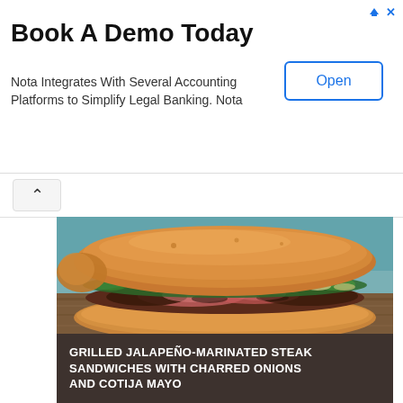Book A Demo Today
Nota Integrates With Several Accounting Platforms to Simplify Legal Banking. Nota
Open
[Figure (screenshot): Back/up navigation button area with a chevron-up icon]
[Figure (photo): Close-up photo of a grilled steak sandwich on a rustic wooden surface, filled with sliced grilled beef, fresh cilantro/herbs, and charred onions on a crusty baguette-style roll]
GRILLED JALAPEÑO-MARINATED STEAK SANDWICHES WITH CHARRED ONIONS AND COTIJA MAYO